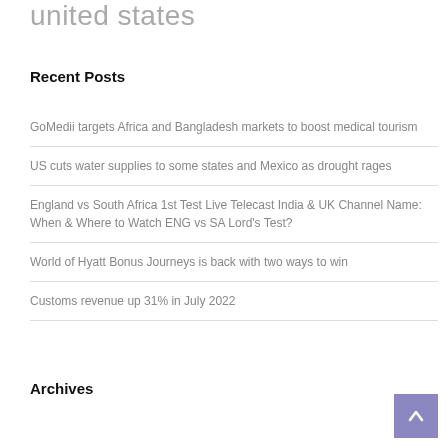united states
Recent Posts
GoMedii targets Africa and Bangladesh markets to boost medical tourism
US cuts water supplies to some states and Mexico as drought rages
England vs South Africa 1st Test Live Telecast India & UK Channel Name: When & Where to Watch ENG vs SA Lord's Test?
World of Hyatt Bonus Journeys is back with two ways to win
Customs revenue up 31% in July 2022
Archives